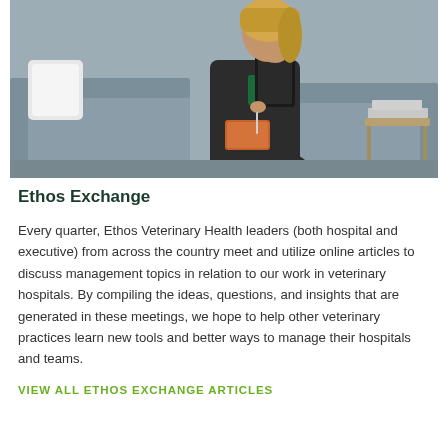[Figure (photo): A person in dark scrubs sits on a grey couch, holding a tablet or book and a pen, in a modern waiting room or lounge setting.]
Ethos Exchange
Every quarter, Ethos Veterinary Health leaders (both hospital and executive) from across the country meet and utilize online articles to discuss management topics in relation to our work in veterinary hospitals. By compiling the ideas, questions, and insights that are generated in these meetings, we hope to help other veterinary practices learn new tools and better ways to manage their hospitals and teams.
VIEW ALL ETHOS EXCHANGE ARTICLES